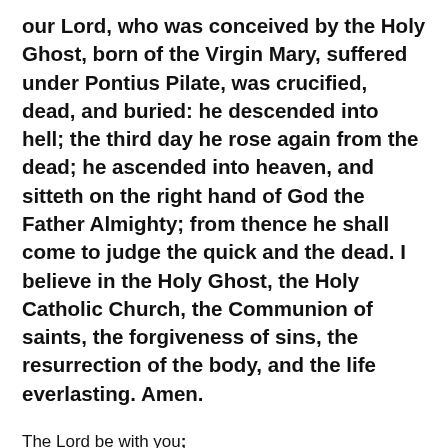our Lord, who was conceived by the Holy Ghost, born of the Virgin Mary, suffered under Pontius Pilate, was crucified, dead, and buried: he descended into hell; the third day he rose again from the dead; he ascended into heaven, and sitteth on the right hand of God the Father Almighty; from thence he shall come to judge the quick and the dead. I believe in the Holy Ghost, the Holy Catholic Church, the Communion of saints, the forgiveness of sins, the resurrection of the body, and the life everlasting. Amen.
The Lord be with you; And with thy spirit.
Let us pray.
Lord, have mercy upon us.